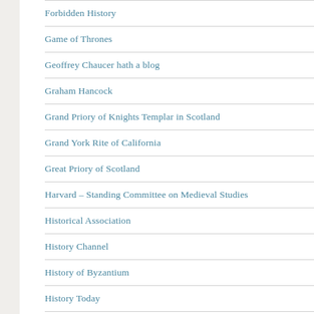Forbidden History
Game of Thrones
Geoffrey Chaucer hath a blog
Graham Hancock
Grand Priory of Knights Templar in Scotland
Grand York Rite of California
Great Priory of Scotland
Harvard – Standing Committee on Medieval Studies
Historical Association
History Channel
History of Byzantium
History Today